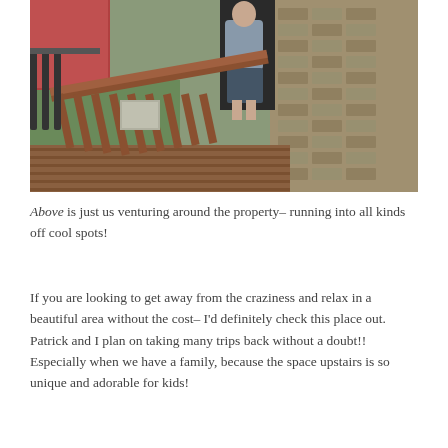[Figure (photo): Outdoor photo of a person in a gray t-shirt and dark shorts standing on or near a wooden deck with reddish-brown railing balusters. A stone/brick building wall is visible on the right, and a red wooden structure and green yard are visible in the background on the left.]
Above is just us venturing around the property– running into all kinds off cool spots!
If you are looking to get away from the craziness and relax in a beautiful area without the cost– I'd definitely check this place out. Patrick and I plan on taking many trips back without a doubt!! Especially when we have a family, because the space upstairs is so unique and adorable for kids!